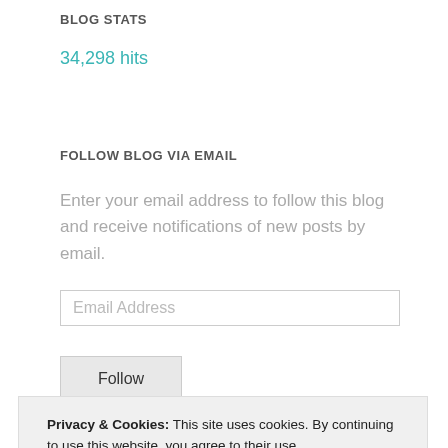BLOG STATS
34,298 hits
FOLLOW BLOG VIA EMAIL
Enter your email address to follow this blog and receive notifications of new posts by email.
Email Address
Follow
Privacy & Cookies: This site uses cookies. By continuing to use this website, you agree to their use.
To find out more, including how to control cookies, see here: Cookie Policy
Close and accept